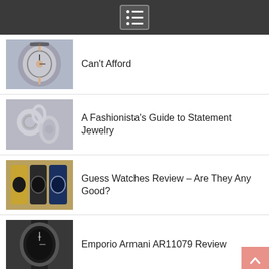Navigation menu icon
Can't Afford
A Fashionista's Guide to Statement Jewelry
Guess Watches Review – Are They Any Good?
Emporio Armani AR11079 Review